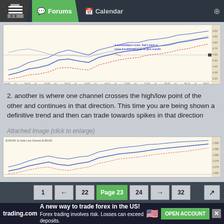Forums | Calendar
[Figure (continuous-plot): Financial line chart showing multiple channel lines on a light cream background, with a text annotation in blue: 'a consolidation cross, that's back to cross if a channel goes to give a profit'. The chart displays several overlapping wavy lines trending upward over time, with price levels on the right axis.]
2. another is where one channel crosses the high/low point of the other and continues in that direction. This time you are being shown a definitive trend and then can trade towards spikes in that direction
Attached Image (click to enlarge)
[Figure (continuous-plot): Second financial line chart showing multiple channel lines on a cream background, partially visible, with similar multi-line structure trending upward.]
1 ← 22 Page 23 24 → 32
trading.com — A new way to trade forex in the US! OPEN ACCOUNT. Forex trading involves risk. Losses can exceed deposits.